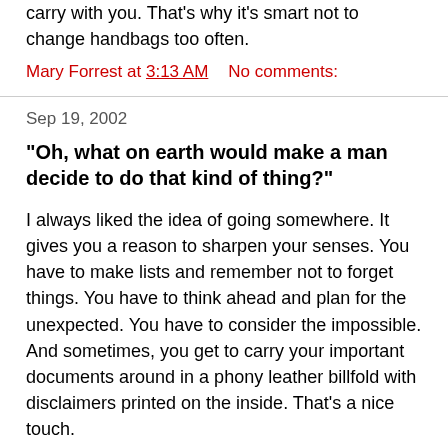carry with you. That's why it's smart not to change handbags too often.
Mary Forrest at 3:13 AM    No comments:
Sep 19, 2002
"Oh, what on earth would make a man decide to do that kind of thing?"
I always liked the idea of going somewhere. It gives you a reason to sharpen your senses. You have to make lists and remember not to forget things. You have to think ahead and plan for the unexpected. You have to consider the impossible. And sometimes, you get to carry your important documents around in a phony leather billfold with disclaimers printed on the inside. That's a nice touch.
"Did it just seem like a good idea at the time?"
You get lots of free things when you travel. That's nice, too. I used to keep all those free, miniaturized, logo-branded